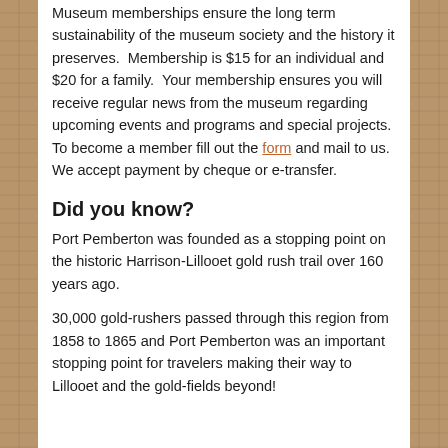Museum memberships ensure the long term sustainability of the museum society and the history it preserves.  Membership is $15 for an individual and $20 for a family.  Your membership ensures you will receive regular news from the museum regarding upcoming events and programs and special projects.  To become a member fill out the form and mail to us.  We accept payment by cheque or e-transfer.
Did you know?
Port Pemberton was founded as a stopping point on the historic Harrison-Lillooet gold rush trail over 160 years ago.
30,000 gold-rushers passed through this region from 1858 to 1865 and Port Pemberton was an important stopping point for travelers making their way to Lillooet and the gold-fields beyond!